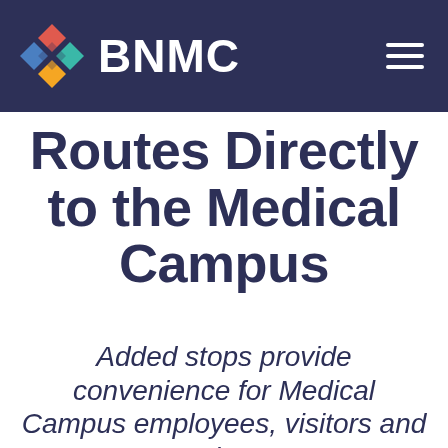BNMC
Routes Directly to the Medical Campus
Added stops provide convenience for Medical Campus employees, visitors and patients